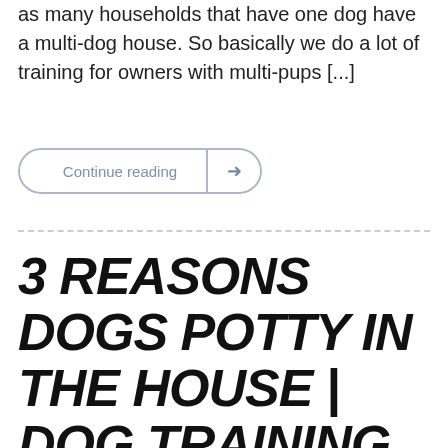as many households that have one dog have a multi-dog house. So basically we do a lot of training for owners with multi-pups [...]
Continue reading →
3 REASONS DOGS POTTY IN THE HOUSE | DOG TRAINING ATLANTA